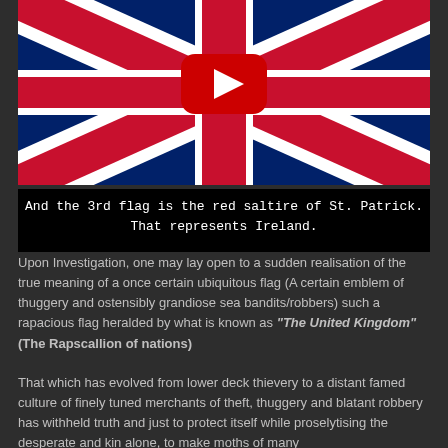[Figure (screenshot): Screenshot of a YouTube video showing the Union Jack (UK flag) with a red YouTube play button overlay in the center.]
And the 3rd flag is the red saltire of St. Patrick. That represents Ireland.
Upon Investigation, one may lay open to a sudden realisation of the true meaning of a once certain ubiquitous flag (A certain emblem of thuggery and ostensibly grandiose sea bandits/robbers) such a rapacious flag heralded by what is known as "The United Kingdom" (The Rapscallion of nations)
That which has evolved from lower deck thievery to a distant famed culture of finely tuned merchants of theft, thuggery and blatant robbery has withheld truth and just to protect itself while proselytising the desperate and kin alone, to make moths of many